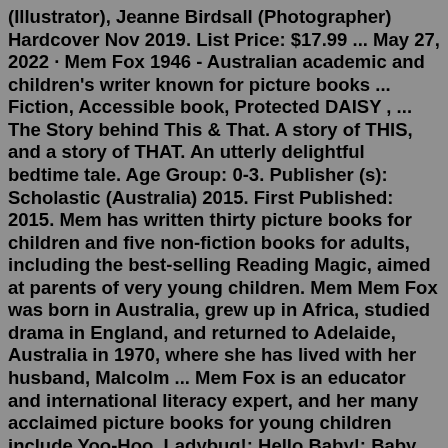(Illustrator), Jeanne Birdsall (Photographer) Hardcover Nov 2019. List Price: $17.99 ... May 27, 2022 · Mem Fox 1946 - Australian academic and children's writer known for picture books ... Fiction, Accessible book, Protected DAISY , ... The Story behind This & That. A story of THIS, and a story of THAT. An utterly delightful bedtime tale. Age Group: 0-3. Publisher (s): Scholastic (Australia) 2015. First Published: 2015. Mem has written thirty picture books for children and five non-fiction books for adults, including the best-selling Reading Magic, aimed at parents of very young children. Mem Mem Fox was born in Australia, grew up in Africa, studied drama in England, and returned to Adelaide, Australia in 1970, where she has lived with her husband, Malcolm ... Mem Fox is an educator and international literacy expert, and her many acclaimed picture books for young children include Yoo-Hoo, Ladybug!; Hello Baby!; Baby Bedtime; I'm an Immigrant Too; the bestselling modern classics Ten Little Fingers and Ten Little Toes and Time for Bed;